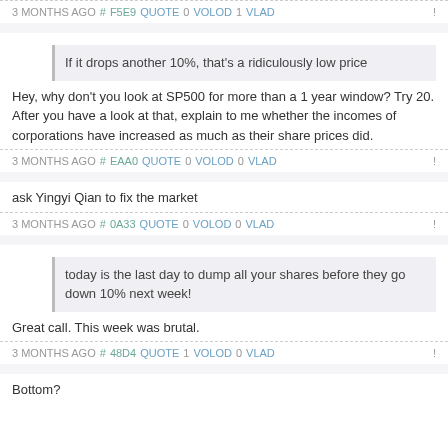3 MONTHS AGO # F5E9 QUOTE 0 VOLOD 1 VLAD !
If it drops another 10%, that's a ridiculously low price
Hey, why don't you look at SP500 for more than a 1 year window? Try 20. After you have a look at that, explain to me whether the incomes of corporations have increased as much as their share prices did.
3 MONTHS AGO # EAA0 QUOTE 0 VOLOD 0 VLAD !
ask Yingyi Qian to fix the market
3 MONTHS AGO # 0A33 QUOTE 0 VOLOD 0 VLAD !
today is the last day to dump all your shares before they go down 10% next week!
Great call. This week was brutal.
3 MONTHS AGO # 48D4 QUOTE 1 VOLOD 0 VLAD !
Bottom?